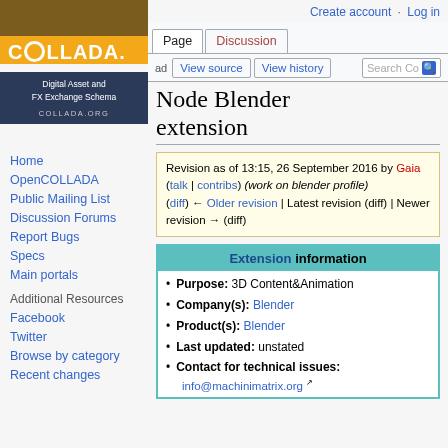Create account  Log in
[Figure (logo): COLLADA logo with text 'Digital Asset and FX Exchange Schema' and 'COLLADA.ORG']
Home
OpenCOLLADA
Public Mailing List
Discussion Forums
Report Bugs
Specs
Main portals
Additional Resources
Facebook
Twitter
Browse by category
Recent changes
Node Blender extension
Revision as of 13:15, 26 September 2016 by Gaia (talk | contribs) (work on blender profile)
(diff) ← Older revision | Latest revision (diff) | Newer revision → (diff)
| Extension information |
| --- |
| Purpose: 3D Content&Animation |
| Company(s): Blender |
| Product(s): Blender |
| Last updated: unstated |
| Contact for technical issues: |
| info@machinimatrix.org |